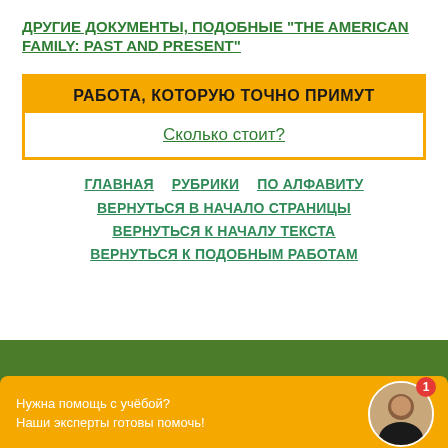ДРУГИЕ ДОКУМЕНТЫ, ПОДОБНЫЕ "THE AMERICAN FAMILY: PAST AND PRESENT"
[Figure (infographic): Orange promotional box with text 'РАБОТА, КОТОРУЮ ТОЧНО ПРИМУТ' and a white inner box with link 'Сколько стоит?']
ГЛАВНАЯ
РУБРИКИ
ПО АЛФАВИТУ
ВЕРНУТЬСЯ В НАЧАЛО СТРАНИЦЫ
ВЕРНУТЬСЯ К НАЧАЛУ ТЕКСТА
ВЕРНУТЬСЯ К ПОДОБНЫМ РАБОТАМ
[Figure (infographic): Green and orange footer banner with text 'Нужна помощь с учёбой? Наши эксперты готовы помочь!' and a photo of a woman with a notification badge showing '1']